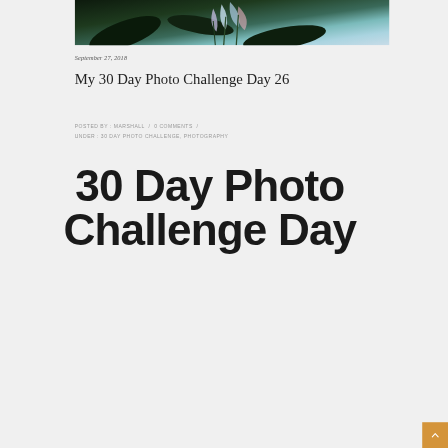[Figure (photo): Partial top photo of a bird of paradise flower or similar tropical plant with dark green and colorful petals against a dark background]
September 27, 2018
My 30 Day Photo Challenge Day 26
POSTED BY : MARSHALL / 0 COMMENTS / UNDER : 30 DAY PHOTO CHALLENGE, PHOTOGRAPHY
30 Day Photo Challenge Day 26